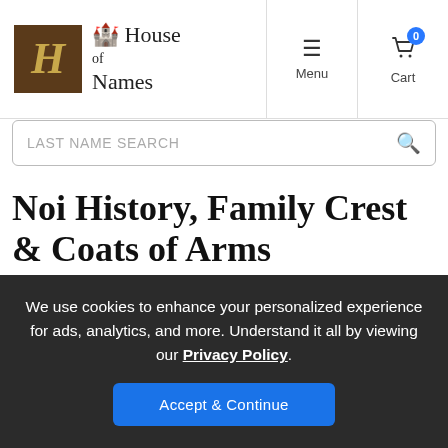[Figure (logo): House of Names logo with gothic H letter in brown/gold box and gothic text 'House of Names']
Menu
Cart 0
LAST NAME SEARCH
Noi History, Family Crest & Coats of Arms
Origins Available: France
We use cookies to enhance your personalized experience for ads, analytics, and more. Understand it all by viewing our Privacy Policy.
Accept & Continue